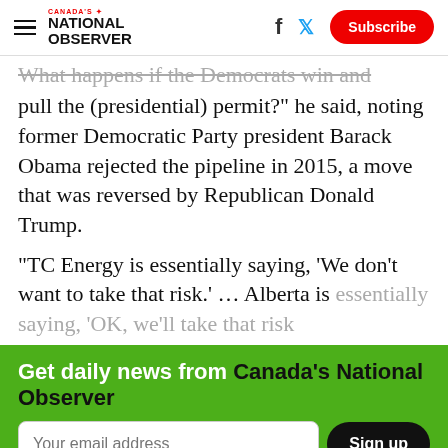Canada's National Observer — Subscribe
...What happens if the Democrats win and pull the (presidential) permit?" he said, noting former Democratic Party president Barack Obama rejected the pipeline in 2015, a move that was reversed by Republican Donald Trump.
"TC Energy is essentially saying, 'We don't want to take that risk.' ... Alberta is essentially saying, 'OK, we'll take that risk
Get daily news from Canada's National Observer
Your email address